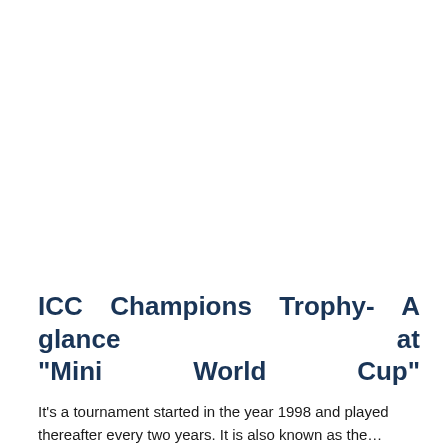ICC Champions Trophy- A glance at “Mini World Cup”
It’s a tournament started in the year 1998 and played thereafter every two years. It is also known as the “Mini World Cup”